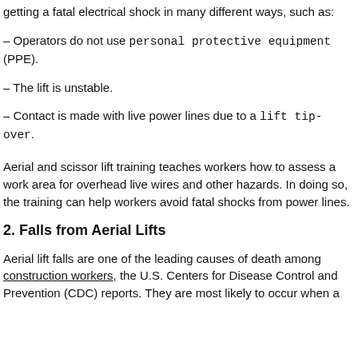getting a fatal electrical shock in many different ways, such as:
– Operators do not use personal protective equipment (PPE).
– The lift is unstable.
– Contact is made with live power lines due to a lift tip-over.
Aerial and scissor lift training teaches workers how to assess a work area for overhead live wires and other hazards. In doing so, the training can help workers avoid fatal shocks from power lines.
2. Falls from Aerial Lifts
Aerial lift falls are one of the leading causes of death among construction workers, the U.S. Centers for Disease Control and Prevention (CDC) reports. They are most likely to occur when a